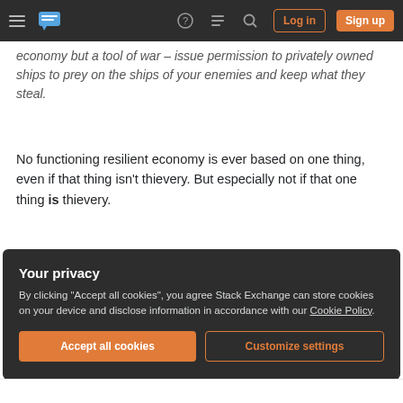Stack Exchange navigation bar with logo, help, chat, search, Log in, Sign up buttons
economy but a tool of war – issue permission to privately owned ships to prey on the ships of your enemies and keep what they steal.
No functioning resilient economy is ever based on one thing, even if that thing isn't thievery. But especially not if that one thing is thievery.
Share
Improve this answer
Follow
Add a comment
answered May 4, 2017 at 8:38
Grimm The Opiner
753 ● 5 ● 9
Your privacy
By clicking "Accept all cookies", you agree Stack Exchange can store cookies on your device and disclose information in accordance with our Cookie Policy.
Accept all cookies
Customize settings